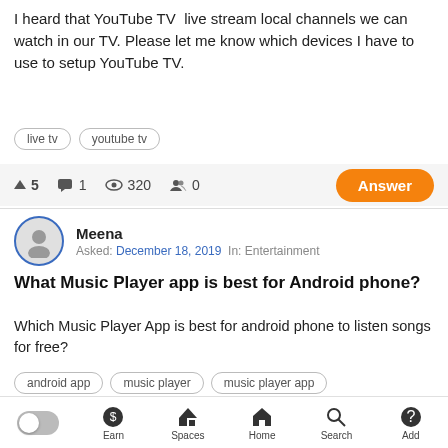I heard that YouTube TV  live stream local channels we can watch in our TV. Please let me know which devices I have to use to setup YouTube TV.
live tv
youtube tv
▲ 5  💬 1  👁 320  👥 0   Answer
Meena
Asked: December 18, 2019  In: Entertainment
What Music Player app is best for Android phone?
Which Music Player App is best for android phone to listen songs for free?
android app
music player
music player app
▲ 5  💬 1  👁 249  👥 0   Answer
Earn  Spaces  Home  Search  Add